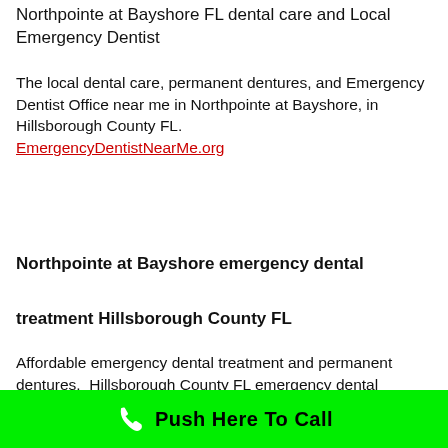Northpointe at Bayshore FL dental care and Local Emergency Dentist
The local dental care, permanent dentures, and Emergency Dentist Office near me in Northpointe at Bayshore, in Hillsborough County FL.
EmergencyDentistNearMe.org
Northpointe at Bayshore emergency dental treatment Hillsborough County FL
Affordable emergency dental treatment and permanent dentures.  Hillsborough County FL emergency dental treatment and Invisible braces
[Figure (other): Green call-to-action bar with phone icon and text 'Push Here To Call']